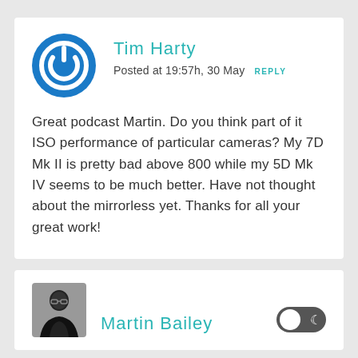[Figure (illustration): Circular blue power button icon — white power symbol on blue circle background]
Tim Harty
Posted at 19:57h, 30 May  REPLY
Great podcast Martin. Do you think part of it ISO performance of particular cameras? My 7D Mk II is pretty bad above 800 while my 5D Mk IV seems to be much better. Have not thought about the mirrorless yet. Thanks for all your great work!
[Figure (photo): Black and white photo of Martin Bailey]
Martin Bailey
[Figure (illustration): Dark mode toggle switch UI element]